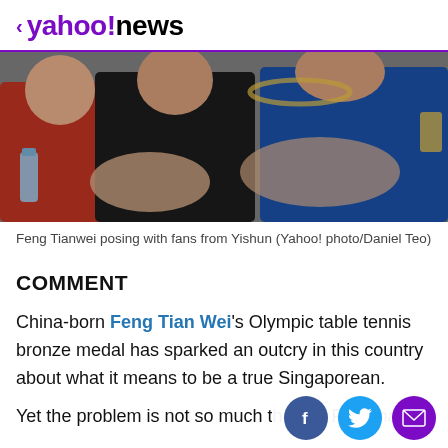< yahoo!news
[Figure (photo): Photo of Feng Tianwei posing with fans, showing people in red, black, and blue shirts with hands visible holding items]
Feng Tianwei posing with fans from Yishun (Yahoo! photo/Daniel Teo)
COMMENT
China-born Feng Tian Wei's Olympic table tennis bronze medal has sparked an outcry in this country about what it means to be a true Singaporean.
Yet the problem is not so much that Ms Feng has failed